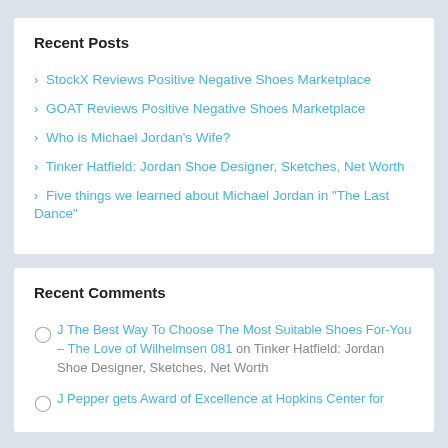Recent Posts
StockX Reviews Positive Negative Shoes Marketplace
GOAT Reviews Positive Negative Shoes Marketplace
Who is Michael Jordan's Wife?
Tinker Hatfield: Jordan Shoe Designer, Sketches, Net Worth
Five things we learned about Michael Jordan in "The Last Dance"
Recent Comments
J The Best Way To Choose The Most Suitable Shoes For-You – The Love of Wilhelmsen 081 on Tinker Hatfield: Jordan Shoe Designer, Sketches, Net Worth
J Pepper gets Award of Excellence at Hopkins Center for